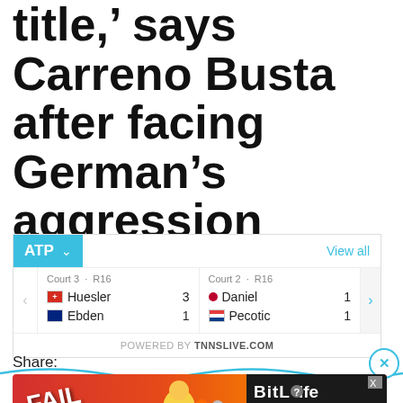title,' says Carreno Busta after facing German's aggression
|  | Court 3 · R16 |  | Court 2 · R16 |  |
| --- | --- | --- | --- | --- |
|  | Huesler | 3 | Daniel | 1 |
|  | Ebden | 1 | Pecotic | 1 |
POWERED BY TNNSLIVE.COM
Share:
[Figure (screenshot): BitLife advertisement banner - FAIL game ad with 'START A NEW LIFE' text]